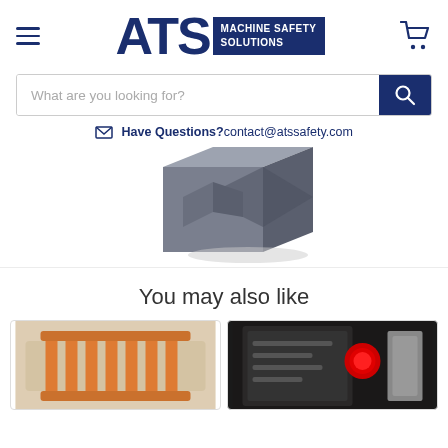ATS Machine Safety Solutions — navigation header with hamburger menu, logo, and cart icon
What are you looking for?
Have Questions? contact@atssafety.com
[Figure (photo): A 3D rendered gray industrial machine safety component (appears to be a guard or enclosure), partially visible against white background]
You may also like
[Figure (photo): Product card image — orange industrial safety equipment on a machine, left card]
[Figure (photo): Product card image — industrial press machine with red safety button, right card]